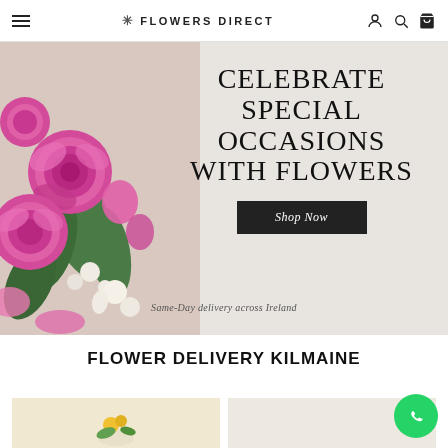FLOWERS DIRECT
[Figure (photo): Hero banner with pink roses bouquet on left, large text 'CELEBRATE SPECIAL OCCASIONS WITH FLOWERS' on right with a black 'Shop Now' button and 'Same-Day delivery across Ireland' subtitle]
FLOWER DELIVERY KILMAINE
[Figure (photo): Two product card thumbnails showing flower arrangements]
[Figure (other): WhatsApp chat bubble icon in green circle]